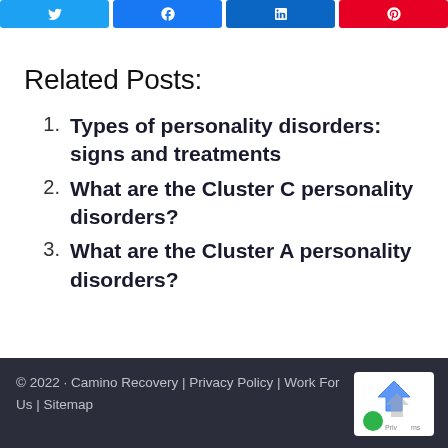[Figure (other): Row of four social sharing buttons: Twitter (blue), Facebook (blue), LinkedIn (dark blue), Pinterest (red)]
Related Posts:
Types of personality disorders: signs and treatments
What are the Cluster C personality disorders?
What are the Cluster A personality disorders?
© 2022 · Camino Recovery | Privacy Policy | Work For Us | Sitemap